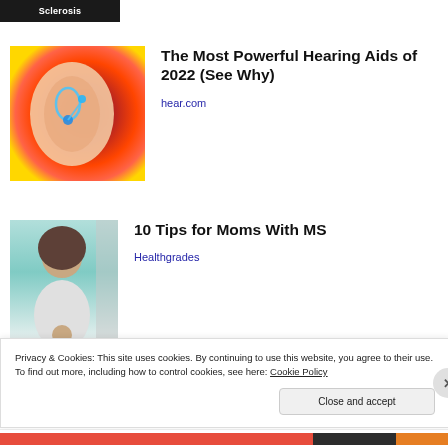[Figure (other): Partial banner at top showing 'Sclerosis' text on dark background]
[Figure (photo): Illustrated ear with hearing aid device on cosmic/nebula background]
The Most Powerful Hearing Aids of 2022 (See Why)
hear.com
[Figure (photo): Photo of a woman with curly hair and a small child in a bright room]
10 Tips for Moms With MS
Healthgrades
Privacy & Cookies: This site uses cookies. By continuing to use this website, you agree to their use.
To find out more, including how to control cookies, see here: Cookie Policy
Close and accept